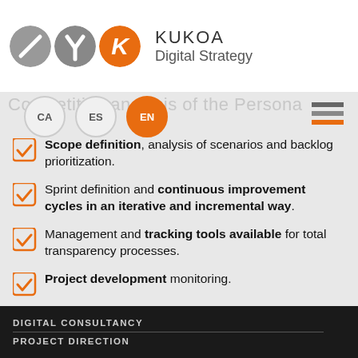[Figure (logo): KUKOA Digital Strategy logo with three circles (two grey, one orange K) and brand name text]
Scope definition, analysis of scenarios and backlog prioritization.
Sprint definition and continuous improvement cycles in an iterative and incremental way.
Management and tracking tools available for total transparency processes.
Project development monitoring.
DIGITAL CONSULTANCY
PROJECT DIRECTION